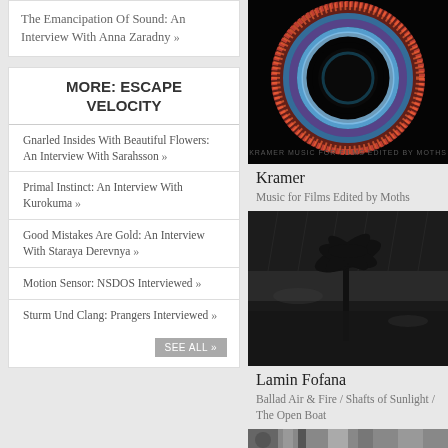The Emancipation Of Sound: An Interview With Anna Zaradny »
MORE: ESCAPE VELOCITY
Gnarled Insides With Beautiful Flowers: An Interview With Sarahsson »
Primal Instinct: An Interview With Kurokuma »
Good Mistakes Are Gold: An Interview With Staraya Derevnya »
Motion Sensor: NSDOS Interviewed »
Sturm Und Clang: Prangers Interviewed »
SEE ALL »
[Figure (photo): Album cover for Kramer - Music for Films Edited by Moths: circular eye/iris pattern with blue and red neon colors on black background]
Kramer
Music for Films Edited by Moths
[Figure (photo): Album cover for Lamin Fofana - Ballad Air & Fire / Shafts of Sunlight / The Open Boat: dark rainy scene with palm tree silhouette]
Lamin Fofana
Ballad Air & Fire / Shafts of Sunlight / The Open Boat
[Figure (photo): Partial album cover visible at bottom of page]